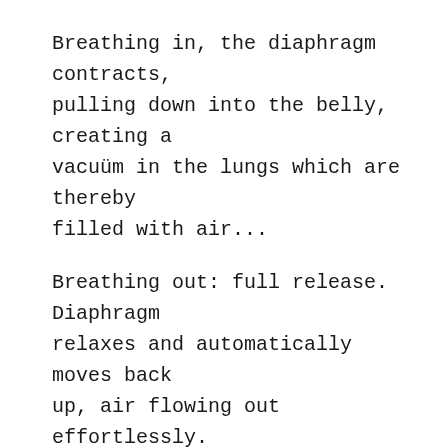Breathing in, the diaphragm contracts, pulling down into the belly, creating a vacuüm in the lungs which are thereby filled with air...
Breathing out: full release. Diaphragm relaxes and automatically moves back up, air flowing out effortlessly.
This is your natural breath. Try it:
1. Breathe in……. let go
2. Breathe in……. let go
3. Breathe in……. let go